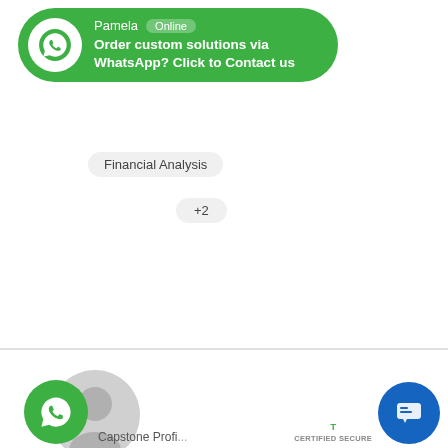[Figure (screenshot): WhatsApp contact banner with Pamela Online badge and message 'Order custom solutions via WhatsApp? Click to Contact us' on green rounded background]
Financial Analysis
+2
[Figure (screenshot): Profile avatar placeholder (grey silhouette circle)]
Nurse Mark
Student Nurse
[Figure (screenshot): Star rating row (5 empty stars)]
[Figure (screenshot): View Profile teal button]
[Figure (screenshot): WhatsApp floating green circle button]
Get Instant Homework Help on Wh...
us a Messa...
We're Online!
How may I help you today?
Capstone Profi...
[Figure (screenshot): Blue chat floating button bottom right]
CERTIFIED SECURE